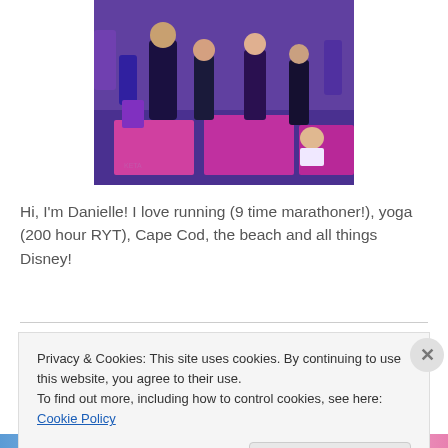[Figure (photo): Outdoor yoga or fitness event with people on pink and purple yoga mats, crowd of participants visible]
Hi, I'm Danielle! I love running (9 time marathoner!), yoga (200 hour RYT), Cape Cod, the beach and all things Disney!
follow me!
Privacy & Cookies: This site uses cookies. By continuing to use this website, you agree to their use.
To find out more, including how to control cookies, see here: Cookie Policy
Close and accept